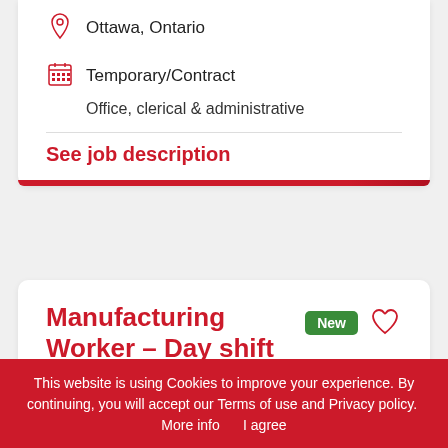Ottawa, Ontario
Temporary/Contract
Office, clerical & administrative
See job description
Manufacturing Worker - Day shift
New
This website is using Cookies to improve your experience. By continuing, you will accept our Terms of use and Privacy policy.  More info      I agree